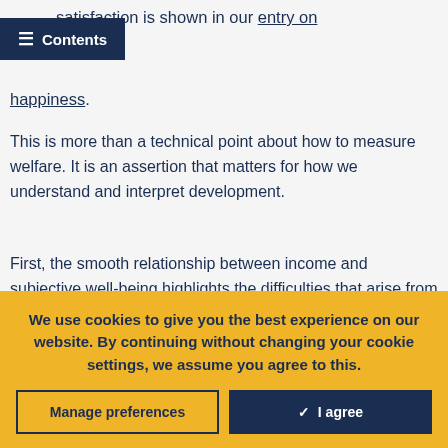satisfaction is shown in our entry on happiness.
This is more than a technical point about how to measure welfare. It is an assertion that matters for how we understand and interpret development.
First, the smooth relationship between income and subjective well-being highlights the difficulties that arise from using a fixed threshold above which people are abruptly considered to be non-poor. In reality, subjective well-being does not suddenly improve above any given
We use cookies to give you the best experience on our website. By continuing without changing your cookie settings, we assume you agree to this.